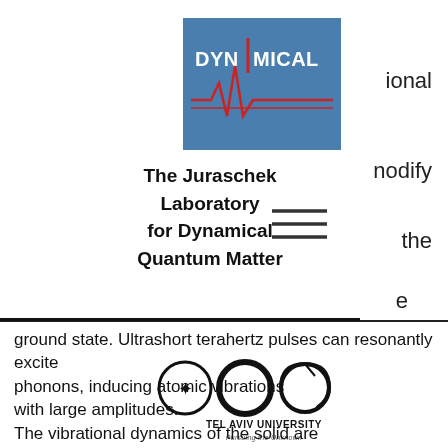[Figure (logo): Dynamical Laboratory logo: blue square background with red EKG/heartbeat waveform and text 'DYNAMICAL' in white]
The Juraschek Laboratory for Dynamical Quantum Matter
[Figure (logo): Tel Aviv University logo with three circular emblems and text 'TEL AVIV UNIVERSITY - Pursuing the Unknown']
ground state. Ultrashort terahertz pulses can resonantly excite phonons, inducing atomic vibrations with large amplitudes. The vibrational dynamics of the solid are governed by nonlinear interactions between phonons